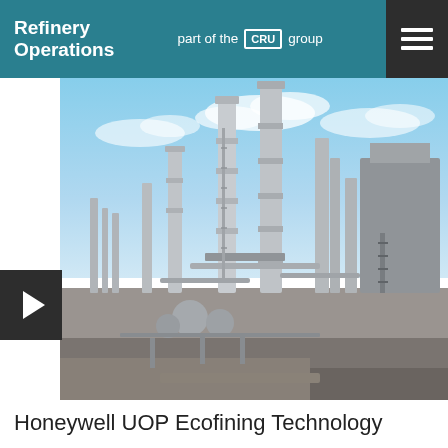Refinery Operations — part of the CRU group
[Figure (photo): Aerial/ground-level photograph of an oil refinery with tall distillation columns and industrial infrastructure under a partly cloudy sky]
Honeywell UOP Ecofining Technology